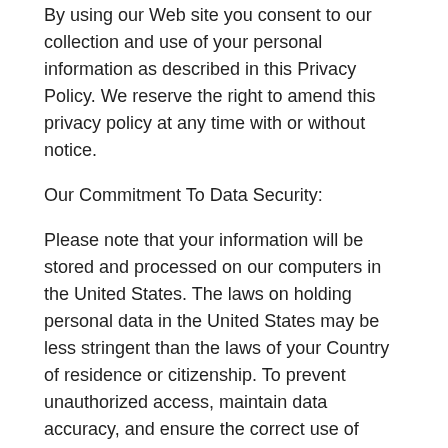By using our Web site you consent to our collection and use of your personal information as described in this Privacy Policy. We reserve the right to amend this privacy policy at any time with or without notice.
Our Commitment To Data Security:
Please note that your information will be stored and processed on our computers in the United States. The laws on holding personal data in the United States may be less stringent than the laws of your Country of residence or citizenship. To prevent unauthorized access, maintain data accuracy, and ensure the correct use of information, we have put in place appropriate physical, electronic, and managerial procedures to safeguard and secure the information we collect online.
Choice/Opt-In/Opt-Out